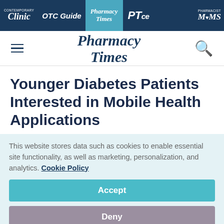Contemporary Clinic | OTC Guide | Pharmacy Times | PTce | Pharmacist Moms
[Figure (logo): Pharmacy Times main logo with hamburger menu and search icon]
Younger Diabetes Patients Interested in Mobile Health Applications
This website stores data such as cookies to enable essential site functionality, as well as marketing, personalization, and analytics. Cookie Policy
Accept
Deny